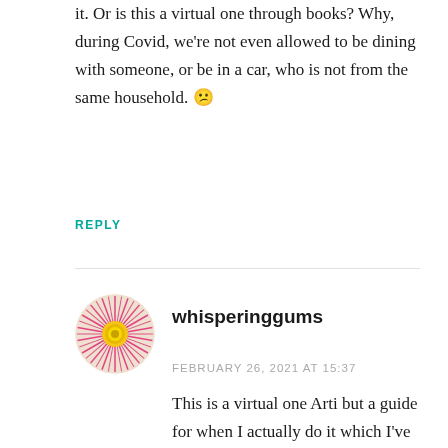it. Or is this a virtual one through books? Why, during Covid, we're not even allowed to be dining with someone, or be in a car, who is not from the same household. 😕
REPLY
[Figure (photo): Circular avatar image of a pink flower (likely a gum blossom) with yellow center and pink radiating petals/stamens]
whisperinggums
FEBRUARY 26, 2021 AT 15:37
This is a virtual one Arti but a guide for when I actually do it which I've been telling Bill for some time that I'd like to do. We can do road trips here in Aus though there's always the risk of a sudden